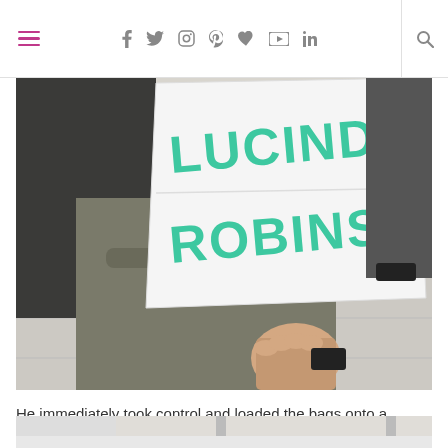Navigation bar with hamburger menu, social icons (f, twitter, instagram, pinterest, heart, youtube, linkedin) and search icon
[Figure (photo): Person in a grey/olive jacket holding a hand-written sign on white paper reading 'LUCINDA ROBINS' in teal/green marker letters, at an airport arrivals area.]
He immediately took control and loaded the bags onto a trolley (and maybe one or two kids!)
[Figure (photo): Partial view of an airport interior, showing structural pillars and a bright open space.]